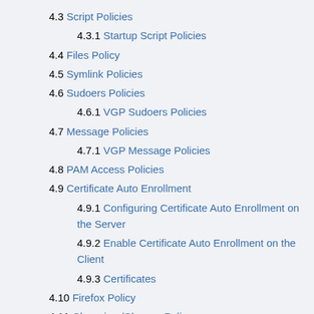4.3 Script Policies
4.3.1 Startup Script Policies
4.4 Files Policy
4.5 Symlink Policies
4.6 Sudoers Policies
4.6.1 VGP Sudoers Policies
4.7 Message Policies
4.7.1 VGP Message Policies
4.8 PAM Access Policies
4.9 Certificate Auto Enrollment
4.9.1 Configuring Certificate Auto Enrollment on the Server
4.9.2 Enable Certificate Auto Enrollment on the Client
4.9.3 Certificates
4.10 Firefox Policy
4.11 Chromium/Chrome Policy
4.12 GNOME Settings
4.13 OpenSSH Policy